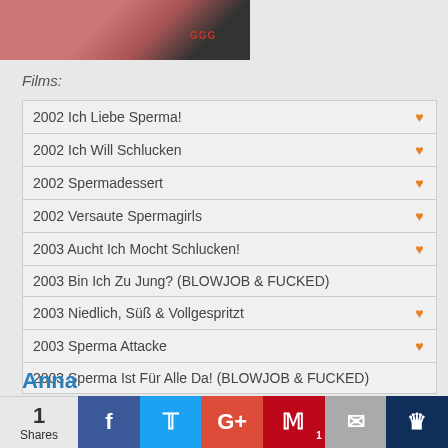[Figure (photo): Cropped photo of a woman, partially visible at top of page, with GGG label in red]
Films:
| 2002 Ich Liebe Sperma! | ♥ |
| 2002 Ich Will Schlucken | ♥ |
| 2002 Spermadessert | ♥ |
| 2002 Versaute Spermagirls | ♥ |
| 2003 Aucht Ich Mocht Schlucken! | ♥ |
| 2003 Bin Ich Zu Jung? (BLOWJOB & FUCKED) |  |
| 2003 Niedlich, Süß & Vollgespritzt | ♥ |
| 2003 Sperma Attacke | ♥ |
| 2003 Sperma Ist Für Alle Da! (BLOWJOB & FUCKED) |  |
Anna
[Figure (photo): Partial photo visible at bottom, dark and brown tones]
1 Shares  Facebook  Twitter  Google+  Pinterest 1  Email  Crown